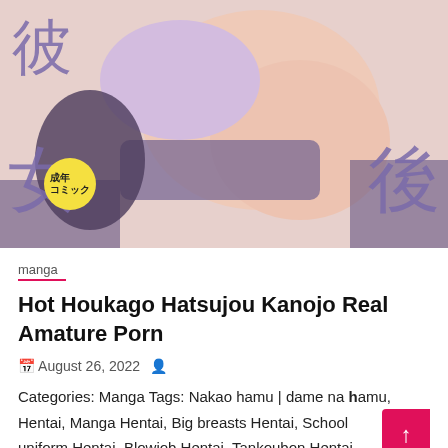[Figure (illustration): Anime/manga style illustration cover art with Japanese kanji characters (彼, 女, 後) in purple on sides, and a yellow circular badge reading 成年コミック]
manga
Hot Houkago Hatsujou Kanojo Real Amature Porn
August 26, 2022
Categories: Manga Tags: Nakao hamu | dame na hamu, Hentai, Manga Hentai, Big breasts Hentai, School uniform Hentai, Blowjob Hentai, Tankoubon Hentai,